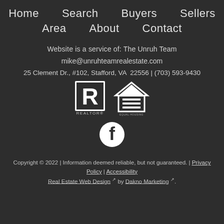Home | Search | Buyers | Sellers | Area | About | Contact
Website is a service of: The Unruh Team
mike@unruhteamrealestate.com
25 Clement Dr., #102, Stafford, VA  22556 | (703) 593-9430
[Figure (logo): Realtor logo and Equal Housing Opportunity logo side by side]
[Figure (logo): Facebook social media icon (circular)]
Copyright © 2022 | Information deemed reliable, but not guaranteed. | Privacy Policy | Accessibility
Real Estate Web Design by Dakno Marketing.